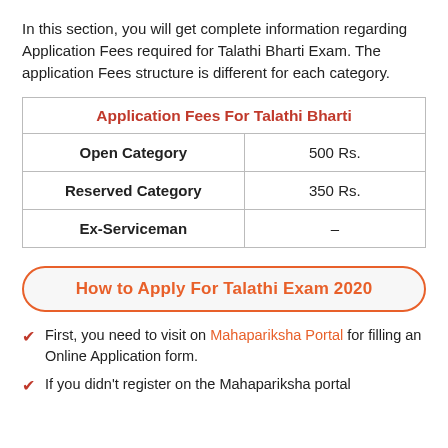In this section, you will get complete information regarding Application Fees required for Talathi Bharti Exam. The application Fees structure is different for each category.
| Application Fees For Talathi Bharti |  |
| --- | --- |
| Open Category | 500 Rs. |
| Reserved Category | 350 Rs. |
| Ex-Serviceman | – |
How to Apply For Talathi Exam 2020
First, you need to visit on Mahapariksha Portal for filling an Online Application form.
If you didn't register on the Mahapariksha portal